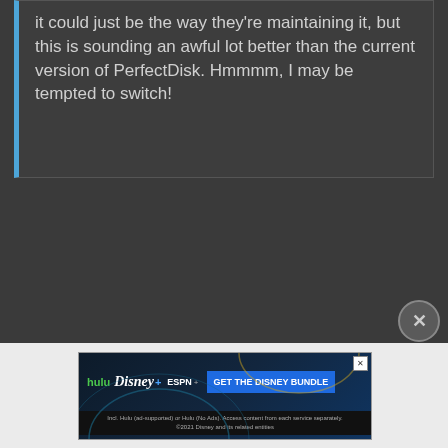it could just be the way they're maintaining it, but this is sounding an awful lot better than the current version of PerfectDisk. Hmmmm, I may be tempted to switch!
[Figure (screenshot): Disney Bundle advertisement showing Hulu, Disney+, and ESPN+ logos with a blue CTA button reading GET THE DISNEY BUNDLE and fine print below]